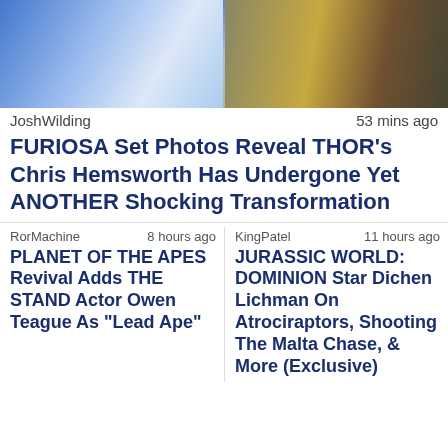[Figure (photo): Split banner image: left side shows blue-toned cinematic scene, right side shows a golden/dark textured background]
JoshWilding   53 mins ago
FURIOSA Set Photos Reveal THOR's Chris Hemsworth Has Undergone Yet ANOTHER Shocking Transformation
RorMachine   8 hours ago
PLANET OF THE APES Revival Adds THE STAND Actor Owen Teague As "Lead Ape"
KingPatel   11 hours ago
JURASSIC WORLD: DOMINION Star Dichen Lichman On Atrociraptors, Shooting The Malta Chase, & More (Exclusive)